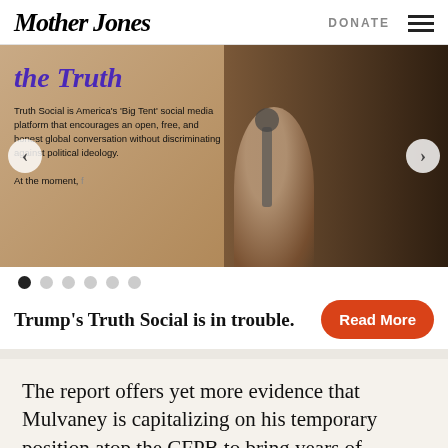Mother Jones | DONATE
[Figure (photo): Slideshow image showing a smartphone screen displaying Truth Social app text 'the Truth' and description of Truth Social platform. Right side shows a blurred image of a person at a microphone. Navigation arrows on left and right.]
Trump's Truth Social is in trouble.
The report offers yet more evidence that Mulvaney is capitalizing on his temporary position atop the CFPB to bring years of proposals to undermine the